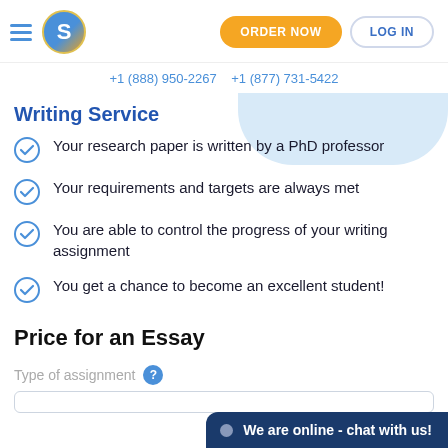S | ORDER NOW | LOG IN
+1 (888) 950-2267   +1 (877) 731-5422
Writing Service
Your research paper is written by a PhD professor
Your requirements and targets are always met
You are able to control the progress of your writing assignment
You get a chance to become an excellent student!
Price for an Essay
Type of assignment ?
We are online - chat with us!